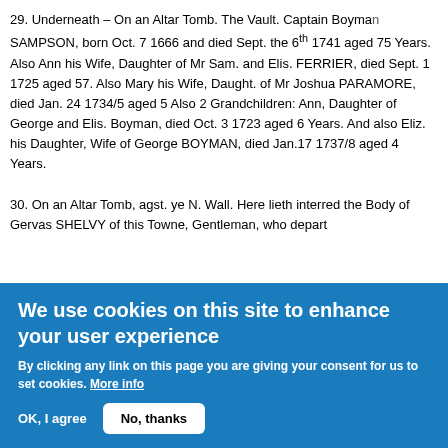29. Underneath – On an Altar Tomb. The Vault. Captain Boyman SAMPSON, born Oct. 7 1666 and died Sept. the 6th 1741 aged 75 Years. Also Ann his Wife, Daughter of Mr Sam. and Elis. FERRIER, died Sept. 1 1725 aged 57. Also Mary his Wife, Daught. of Mr Joshua PARAMORE, died Jan. 24 1734/5 aged 5 Also 2 Grandchildren: Ann, Daughter of George and Elis. Boyman, died Oct. 3 1723 aged 6 Years. And also Eliz. his Daughter, Wife of George BOYMAN, died Jan.17 1737/8 aged 4 Years.
30. On an Altar Tomb, agst. ye N. Wall. Here lieth interred the Body of Gervas SHELVY of this Towne, Gentleman, who depart
We use cookies on this site to enhance your user experience
By clicking any link on this page you are giving your consent for us to set cookies. More info
OK, I agree   No, thanks